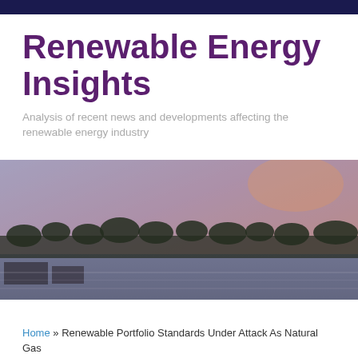Renewable Energy Insights
Analysis of recent news and developments affecting the renewable energy industry
[Figure (photo): Landscape photo of a wide waterway or lake at dusk/dawn with trees on the horizon and buildings visible, soft purple and orange atmospheric lighting]
Home » Renewable Portfolio Standards Under Attack As Natural Gas Prices Decline